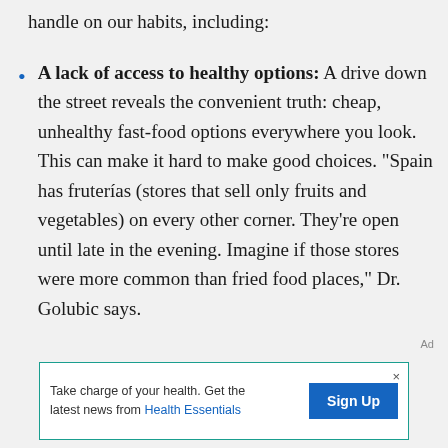handle on our habits, including:
A lack of access to healthy options: A drive down the street reveals the convenient truth: cheap, unhealthy fast-food options everywhere you look. This can make it hard to make good choices. “Spain has fruterías (stores that sell only fruits and vegetables) on every other corner. They’re open until late in the evening. Imagine if those stores were more common than fried food places,” Dr. Golubic says.
Ad
Take charge of your health. Get the latest news from Health Essentials  Sign Up